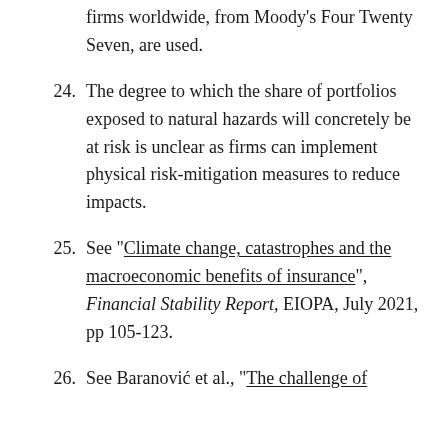firms worldwide, from Moody's Four Twenty Seven, are used.
24. The degree to which the share of portfolios exposed to natural hazards will concretely be at risk is unclear as firms can implement physical risk-mitigation measures to reduce impacts.
25. See "Climate change, catastrophes and the macroeconomic benefits of insurance", Financial Stability Report, EIOPA, July 2021, pp 105-123.
26. See Baranović et al., "The challenge of